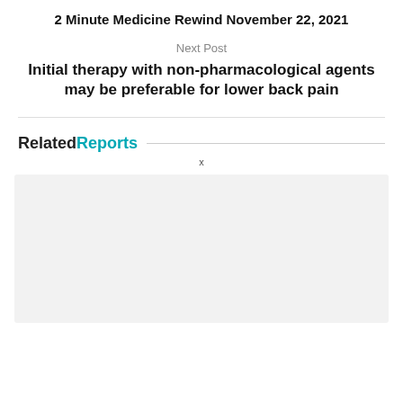2 Minute Medicine Rewind November 22, 2021
Next Post
Initial therapy with non-pharmacological agents may be preferable for lower back pain
RelatedReports
x
[Figure (other): Gray placeholder box for related reports content]